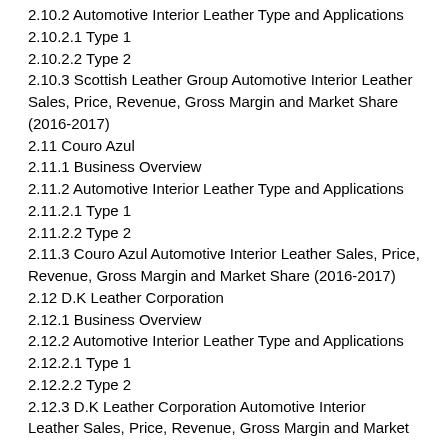2.10.2 Automotive Interior Leather Type and Applications
2.10.2.1 Type 1
2.10.2.2 Type 2
2.10.3 Scottish Leather Group Automotive Interior Leather Sales, Price, Revenue, Gross Margin and Market Share (2016-2017)
2.11 Couro Azul
2.11.1 Business Overview
2.11.2 Automotive Interior Leather Type and Applications
2.11.2.1 Type 1
2.11.2.2 Type 2
2.11.3 Couro Azul Automotive Interior Leather Sales, Price, Revenue, Gross Margin and Market Share (2016-2017)
2.12 D.K Leather Corporation
2.12.1 Business Overview
2.12.2 Automotive Interior Leather Type and Applications
2.12.2.1 Type 1
2.12.2.2 Type 2
2.12.3 D.K Leather Corporation Automotive Interior Leather Sales, Price, Revenue, Gross Margin and Market Share (2016-2017)